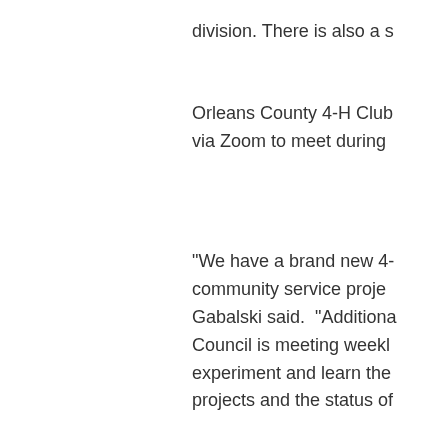division. There is also a s
Orleans County 4-H Club
via Zoom to meet during
“We have a brand new 4-
community service proje
Gabalski said.  “Additiona
Council is meeting weekl
experiment and learn the
projects and the status of
‘This has been a
youth, but they a
Kristina Gabalski